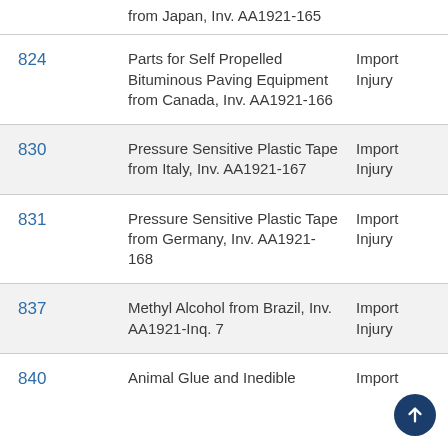| Number | Description | Type |
| --- | --- | --- |
|  | from Japan, Inv. AA1921-165 |  |
| 824 | Parts for Self Propelled Bituminous Paving Equipment from Canada, Inv. AA1921-166 | Import Injury |
| 830 | Pressure Sensitive Plastic Tape from Italy, Inv. AA1921-167 | Import Injury |
| 831 | Pressure Sensitive Plastic Tape from Germany, Inv. AA1921-168 | Import Injury |
| 837 | Methyl Alcohol from Brazil, Inv. AA1921-Inq. 7 | Import Injury |
| 840 | Animal Glue and Inedible... | Import |